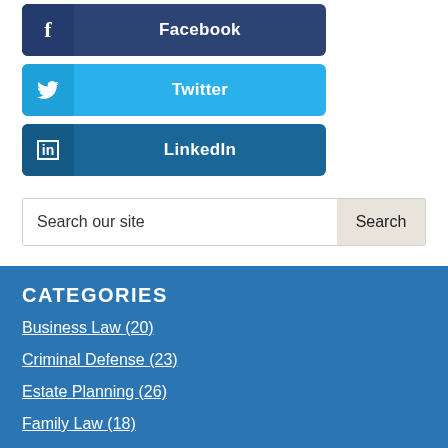[Figure (screenshot): Facebook social media button (dark blue)]
[Figure (screenshot): Twitter social media button (light blue)]
[Figure (screenshot): LinkedIn social media button (teal blue)]
Search our site
CATEGORIES
Business Law (20)
Criminal Defense (23)
Estate Planning (26)
Family Law (18)